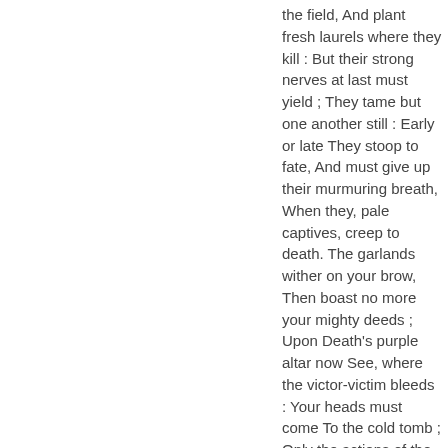the field, And plant fresh laurels where they kill : But their strong nerves at last must yield ; They tame but one another still : Early or late They stoop to fate, And must give up their murmuring breath, When they, pale captives, creep to death. The garlands wither on your brow, Then boast no more your mighty deeds ; Upon Death's purple altar now See, where the victor-victim bleeds : Your heads must come To the cold tomb ; Only the actions of the just Smell sweet,...
Vyskytuje sa v 707 knihe (-ách) od 1715-2007